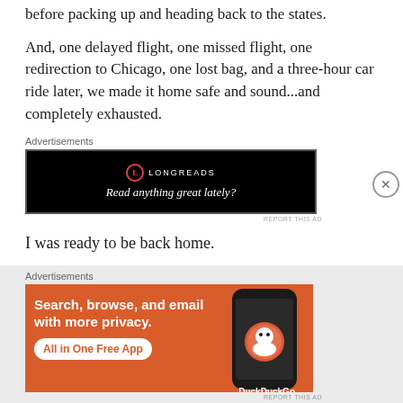before packing up and heading back to the states.
And, one delayed flight, one missed flight, one redirection to Chicago, one lost bag, and a three-hour car ride later, we made it home safe and sound...and completely exhausted.
[Figure (other): Longreads advertisement: black background with Longreads logo and tagline 'Read anything great lately?']
I was ready to be back home.
[Figure (other): DuckDuckGo advertisement on orange background: 'Search, browse, and email with more privacy. All in One Free App' with phone image showing DuckDuckGo logo]